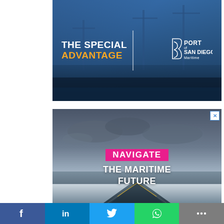[Figure (advertisement): Port of San Diego Maritime advertisement with ship loading cranes background and text 'THE SPECIAL ADVANTAGE' with Port of San Diego Maritime logo]
[Figure (advertisement): Maritime advertisement showing tanker ship bow under stormy sky with text 'NAVIGATE THE MARITIME FUTURE' with pink highlight on NAVIGATE]
[Figure (infographic): Social sharing bar with Facebook, LinkedIn, Twitter, WhatsApp, and More buttons at the bottom of the page]